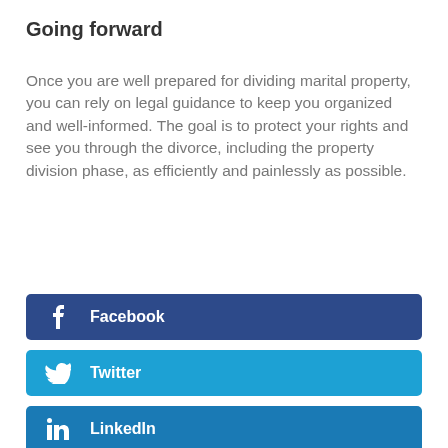Going forward
Once you are well prepared for dividing marital property, you can rely on legal guidance to keep you organized and well-informed. The goal is to protect your rights and see you through the divorce, including the property division phase, as efficiently and painlessly as possible.
Facebook
Twitter
LinkedIn